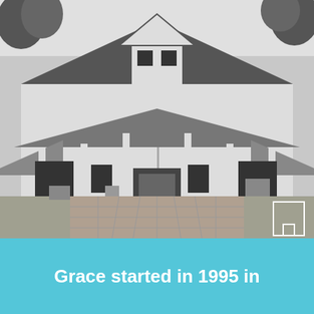[Figure (photo): Black and white photograph of a traditional Southern-style house with a wide front porch, columns, dormers, and a brick pathway leading to the entrance. Trees visible in background. A small white square logo/icon is overlaid in the bottom-right corner of the photo.]
Grace started in 1995 in